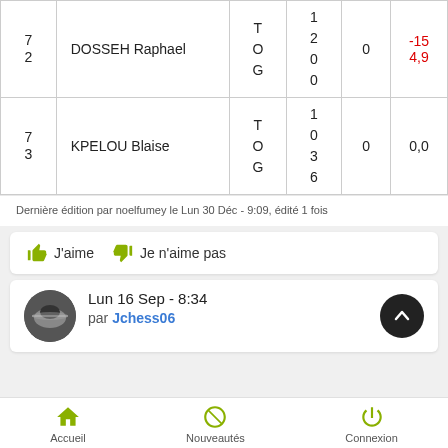| # | Name | Country | Elo | Score | Change |
| --- | --- | --- | --- | --- | --- |
| 72 | DOSSEH Raphael | TOG | 1200 | 0 | -15 4,9 |
| 73 | KPELOU Blaise | TOG | 1036 | 0 | 0,0 |
Dernière édition par noelfumey le Lun 30 Déc - 9:09, édité 1 fois
J'aime   Je n'aime pas
Lun 16 Sep - 8:34
par Jchess06